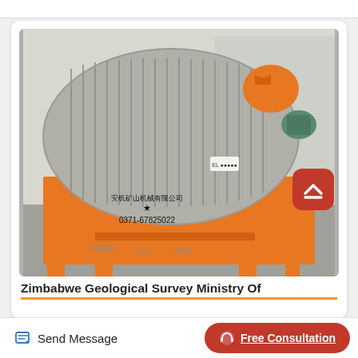[Figure (photo): Orange industrial magnetic drum separator machine with horizontal ribbed drum, orange frame and base, Chinese text and phone number 0371-67825022 on the body, photographed outdoors in front of a factory building. A red scroll-to-top button overlays the right side.]
Zimbabwe Geological Survey Ministry Of
Send Message
Free Consultation